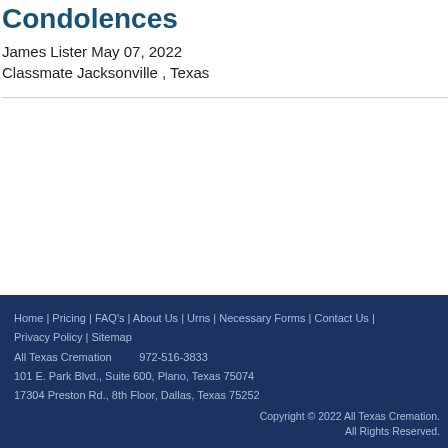Condolences
James Lister May 07, 2022
Classmate Jacksonville , Texas
Home | Pricing | FAQ's | About Us | Urns | Necessary Forms | Contact Us | Privacy Policy | Sitemap
All Texas Cremation      972-516-3833
101 E. Park Blvd., Suite 600, Plano, Texas 75074
17304 Preston Rd., 8th Floor, Dallas, Texas 75252
Copyright © 2022 All Texas Cremation. All Rights Reserved.